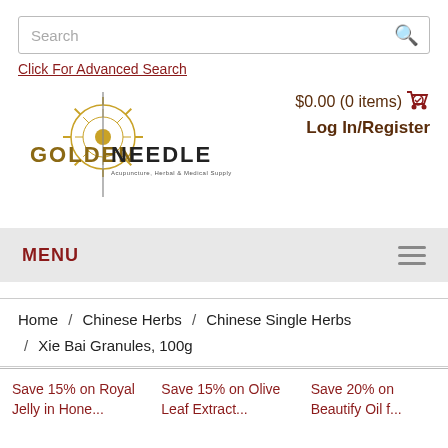Search
Click For Advanced Search
[Figure (logo): Golden Needle — Acupuncture, Herbal & Medical Supply logo with sunburst emblem]
$0.00 (0 items)
Log In/Register
MENU
Home / Chinese Herbs / Chinese Single Herbs / Xie Bai Granules, 100g
Save 15% on Royal Jelly in Honey...
Save 15% on Olive Leaf Extract...
Save 20% on Beautify Oil...